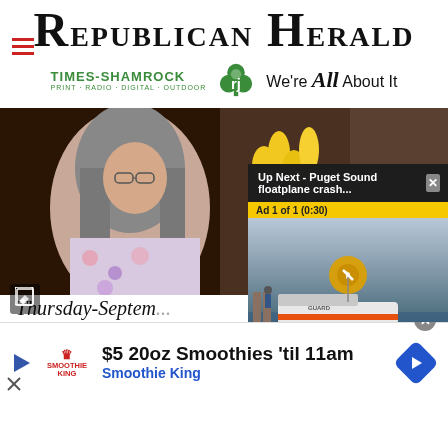Republican Herald
[Figure (logo): Times-Shamrock logo with shamrock icon and tagline: PRINT · RADIO · DIGITAL · OUTDOOR — We're All About It]
[Figure (photo): Main video area showing a woman with gray hair arranging yellow tulips in a flower shop. An overlay panel shows 'Up Next - Puget Sound floatplane crash...' with an X button, an ad label 'Ad 1 of 1 (0:30)', a mute button, and a thumbnail of a Coast Guard boat on water.]
Thursday-Septem
[Figure (screenshot): Bottom advertisement banner: Smoothie King ad showing '$5 20oz Smoothies 'til 11am' and 'Smoothie King' in blue, with Smoothie King logo, play button, close X, and navigation arrow icon.]